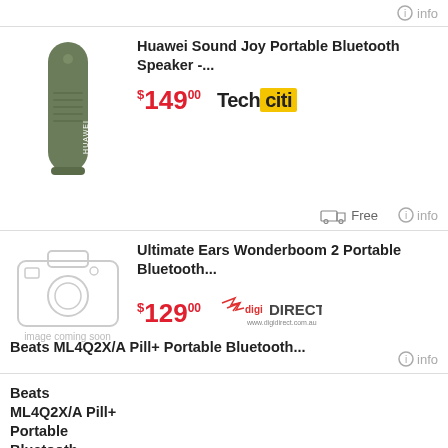info
[Figure (photo): Huawei Sound Joy Portable Bluetooth Speaker product image - olive green cylindrical speaker]
Huawei Sound Joy Portable Bluetooth Speaker -...
$149.00
[Figure (logo): TechCiti logo - black text 'Tech' followed by 'citi' in yellow box]
Free
info
[Figure (photo): Image coming soon placeholder - grey camera icon]
Ultimate Ears Wonderboom 2 Portable Bluetooth...
$129.00
[Figure (logo): digiDIRECT logo]
info
[Figure (photo): Beats ML4Q2X/A Pill+ Portable Bluetooth Speaker - red pill-shaped speaker]
Beats ML4Q2X/A Pill+ Portable Bluetooth...
$249.00
[Figure (logo): mwave.com.au logo]